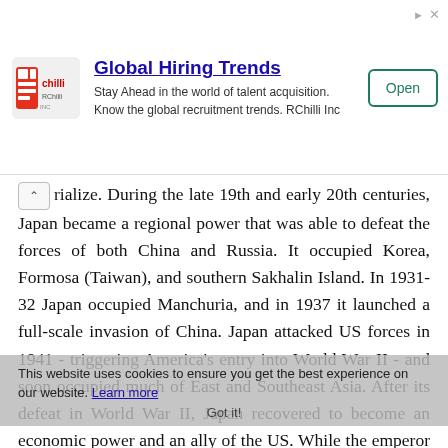[Figure (infographic): Advertisement banner: RChilli logo, 'Global Hiring Trends' headline, body text 'Stay Ahead in the world of talent acquisition. Know the global recruitment trends. RChilli Inc', and an 'Open' button. Small ad icons (arrow and X) in top-right corner.]
rialize. During the late 19th and early 20th centuries, Japan became a regional power that was able to defeat the forces of both China and Russia. It occupied Korea, Formosa (Taiwan), and southern Sakhalin Island. In 1931-32 Japan occupied Manchuria, and in 1937 it launched a full-scale invasion of China. Japan attacked US forces in 1941 - triggering America's entry into World War II - and soon occupied much of East and Southeast Asia. After its defeat in World War II, Japan recovered to become an economic power and an ally of the US. While the emperor retains his throne as a symbol of national unity, elected politicians hold actual decision-making power. Following three decades of unprecedented growth, Japan's economy experienced a major slowdown starting in the 1990s, but the country
This website uses cookies to ensure you get the best experience on our website. Learn more
Got it!